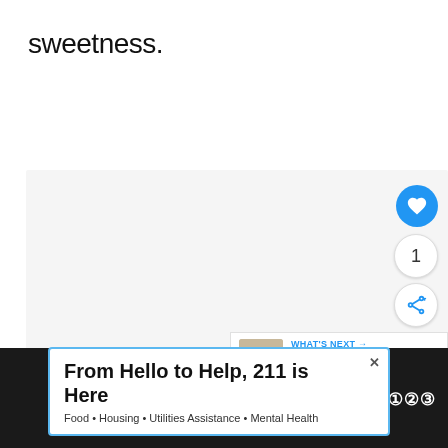sweetness.
[Figure (other): Light gray content card area with like button (blue heart circle), count bubble showing '1', and share button]
1
WHAT'S NEXT → What Do Sand Fleas Taste...
[Figure (other): Advertisement banner: 'From Hello to Help, 211 is Here' with subtitle 'Food • Housing • Utilities Assistance • Mental Health']